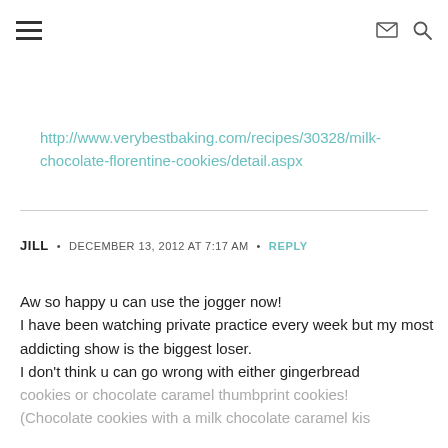≡  ✉ 🔍
http://www.verybestbaking.com/recipes/30328/milk-chocolate-florentine-cookies/detail.aspx
JILL  •  DECEMBER 13, 2012 AT 7:17 AM  •  REPLY
Aw so happy u can use the jogger now!
I have been watching private practice every week but my most addicting show is the biggest loser.
I don't think u can go wrong with either gingerbread cookies or chocolate caramel thumbprint cookies!
(Chocolate cookies with a milk chocolate caramel kis